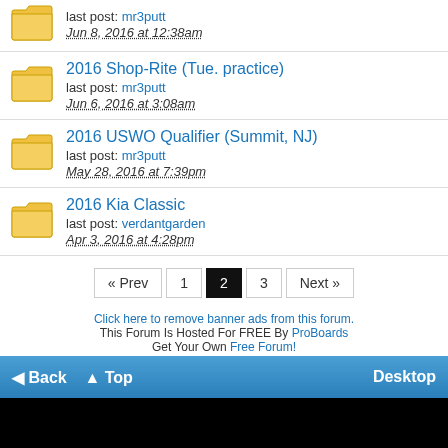last post: mr3putt
Jun 8, 2016 at 12:38am
2016 Shop-Rite (Tue. practice)
last post: mr3putt
Jun 6, 2016 at 3:08am
2016 USWO Qualifier (Summit, NJ)
last post: mr3putt
May 28, 2016 at 7:39pm
2016 Kia Classic
last post: verdantgarden
Apr 3, 2016 at 4:28pm
« Prev  1  2  3  Next »
Click here to remove banner ads from this forum.
This Forum Is Hosted For FREE By ProBoards
Get Your Own Free Forum!
Terms of Service  Privacy  Cookies  FTC Disclosure  Report Abuse  Do Not Sell My Personal Information